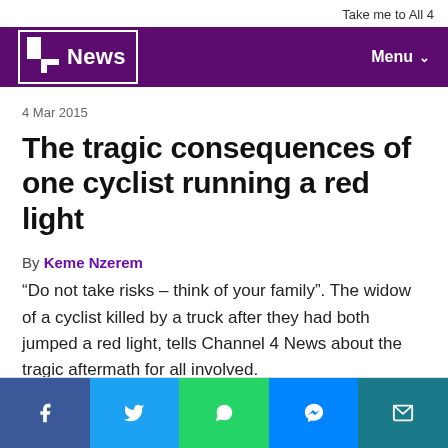Take me to All 4
4 News | Menu
4 Mar 2015
The tragic consequences of one cyclist running a red light
By Keme Nzerem
“Do not take risks – think of your family”. The widow of a cyclist killed by a truck after they had both jumped a red light, tells Channel 4 News about the tragic aftermath for all involved.
[Figure (other): Share buttons for Facebook, Twitter, WhatsApp, Messenger, and Email]